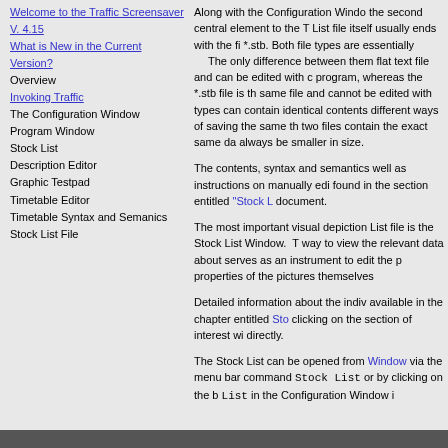Welcome to the Traffic Screensaver V. 4.15
What is New in the Current Version?
Overview
Invoking Traffic
The Configuration Window
Program Window
Stock List
Description Editor
Graphic Testpad
Timetable Editor
Timetable Syntax and Semanics
Stock List File
Along with the Configuration Window, the second central element to the T... List file itself usually ends with the fi... *.stb. Both file types are essentially... The only difference between them... flat text file and can be edited with c... program, whereas the *.stb file is th... same file and cannot be edited with... types can contain identical contents... different ways of saving the same th... two files contain the exact same da... always be smaller in size.
The contents, syntax and semantics... well as instructions on manually edi... found in the section entitled "Stock L..." document.
The most important visual depiction... List file is the Stock List Window. T... way to view the relevant data about... serves as an instrument to edit the p... properties of the pictures themselves...
Detailed information about the indiv... available in the chapter entitled Sto... clicking on the section of interest wi... directly.
The Stock List can be opened from... Window via the menu bar command Stock List or by clicking on the b... List in the Configuration Window i...